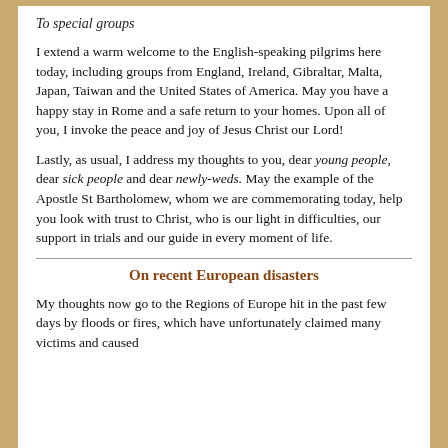To special groups
I extend a warm welcome to the English-speaking pilgrims here today, including groups from England, Ireland, Gibraltar, Malta, Japan, Taiwan and the United States of America. May you have a happy stay in Rome and a safe return to your homes. Upon all of you, I invoke the peace and joy of Jesus Christ our Lord!
Lastly, as usual, I address my thoughts to you, dear young people, dear sick people and dear newly-weds. May the example of the Apostle St Bartholomew, whom we are commemorating today, help you look with trust to Christ, who is our light in difficulties, our support in trials and our guide in every moment of life.
On recent European disasters
My thoughts now go to the Regions of Europe hit in the past few days by floods or fires, which have unfortunately claimed many victims and caused